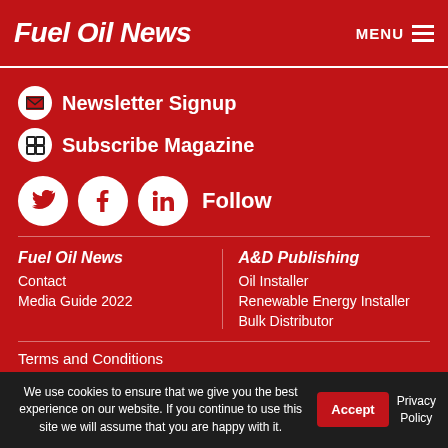Fuel Oil News | MENU
Newsletter Signup
Subscribe Magazine
Follow
Fuel Oil News
Contact
Media Guide 2022
A&D Publishing
Oil Installer
Renewable Energy Installer
Bulk Distributor
Terms and Conditions
We use cookies to ensure that we give you the best experience on our website. If you continue to use this site we will assume that you are happy with it.